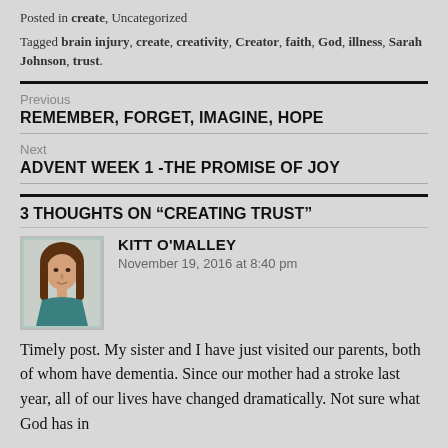Posted in create, Uncategorized
Tagged brain injury, create, creativity, Creator, faith, God, illness, Sarah Johnson, trust.
Previous
REMEMBER, FORGET, IMAGINE, HOPE
Next
ADVENT WEEK 1 -THE PROMISE OF JOY
3 THOUGHTS ON “CREATING TRUST”
[Figure (photo): Avatar photo of Kitt O'Malley, a woman with long dark hair wearing a teal top]
KITT O'MALLEY
November 19, 2016 at 8:40 pm
Timely post. My sister and I have just visited our parents, both of whom have dementia. Since our mother had a stroke last year, all of our lives have changed dramatically. Not sure what God has in